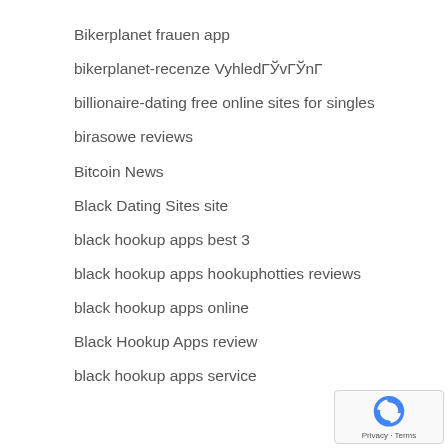Bikerplanet frauen app
bikerplanet-recenze VyhledГЎvГЎnГ
billionaire-dating free online sites for singles
birasowe reviews
Bitcoin News
Black Dating Sites site
black hookup apps best 3
black hookup apps hookuphotties reviews
black hookup apps online
Black Hookup Apps review
black hookup apps service